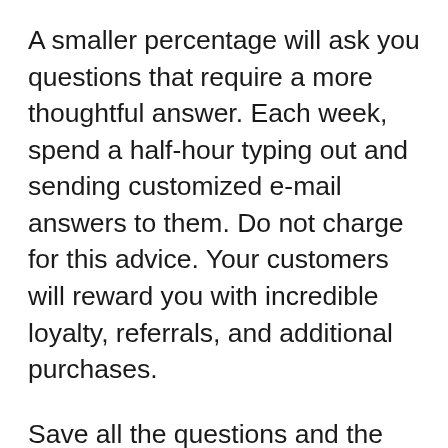A smaller percentage will ask you questions that require a more thoughtful answer. Each week, spend a half-hour typing out and sending customized e-mail answers to them. Do not charge for this advice. Your customers will reward you with incredible loyalty, referrals, and additional purchases.
Save all the questions and the answers. You may be able to turn them into another information product you can sell – e.g., “101 Questions about X and One Good Answer to Each.” (If you do that, do not use the names of the people who asked the